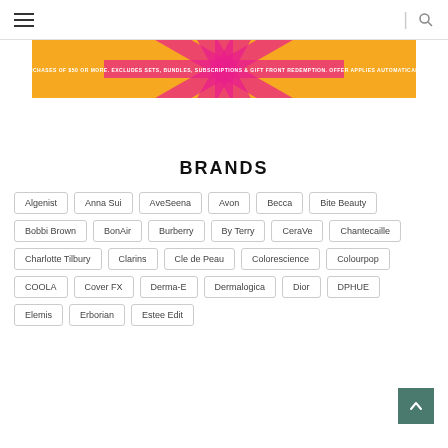Navigation bar with hamburger menu and search icon
[Figure (infographic): Orange and pink sunburst promotional banner with text: PURCHASES OF $50 OR MORE. EXCLUDES SETS, BUNDLES, SUBSCRIPTIONS & GIFT FRONT REDEMPTION. OFFER APPLIES AUTOMATICALLY.]
BRANDS
Algenist
Anna Sui
AveSeena
Avon
Becca
Bite Beauty
Bobbi Brown
BonAir
Burberry
By Terry
CeraVe
Chantecaille
Charlotte Tilbury
Clarins
Cle de Peau
Colorescience
Colourpop
COOLA
Cover FX
Derma-E
Dermalogica
Dior
DPHUE
Elemis
Erborian
Estee Edit